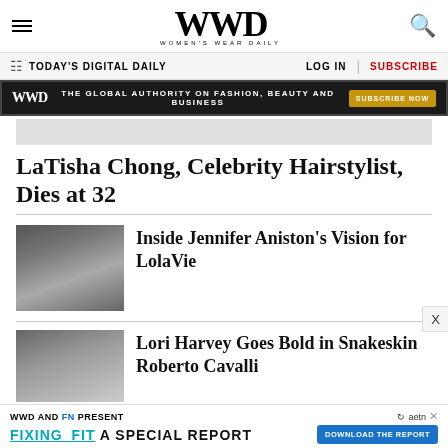WWD — Women's Wear Daily
TODAY'S DIGITAL DAILY   LOG IN   SUBSCRIBE
WWD   THE GLOBAL AUTHORITY ON FASHION, BEAUTY AND BUSINESS   SUBSCRIBE NOW
LaTisha Chong, Celebrity Hairstylist, Dies at 32
[Figure (photo): Photo thumbnail of Jennifer Aniston]
Inside Jennifer Aniston's Vision for LolaVie
[Figure (photo): Photo thumbnail of Lori Harvey]
Lori Harvey Goes Bold in Snakeskin Roberto Cavalli
WWD AND FN PRESENT   FIXING_FIT A SPECIAL REPORT   DOWNLOAD THE REPORT